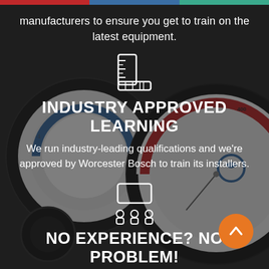manufacturers to ensure you get to train on the latest equipment.
[Figure (illustration): White icon of a ruler/measurement tool]
INDUSTRY APPROVED LEARNING
We run industry-leading qualifications and we’re approved by Worcester Bosch to train its installers.
[Figure (illustration): White icon of people/classroom with screen]
NO EXPERIENCE? NO PROBLEM!
[Figure (illustration): Orange circle with upward chevron arrow button]